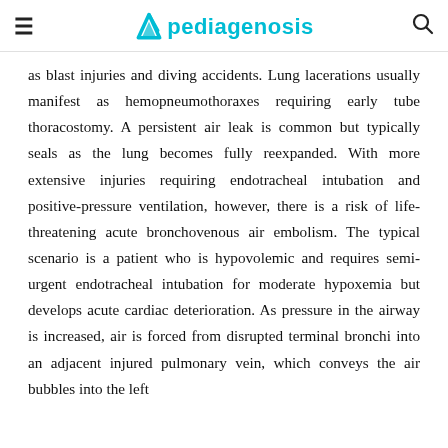pediagenosis
as blast injuries and diving accidents. Lung lacerations usually manifest as hemopneumothoraxes requiring early tube thoracostomy. A persistent air leak is common but typically seals as the lung becomes fully reexpanded. With more extensive injuries requiring endotracheal intubation and positive-pressure ventilation, however, there is a risk of life-threatening acute bronchovenous air embolism. The typical scenario is a patient who is hypovolemic and requires semi-urgent endotracheal intubation for moderate hypoxemia but develops acute cardiac deterioration. As pressure in the airway is increased, air is forced from disrupted terminal bronchi into an adjacent injured pulmonary vein, which conveys the air bubbles into the left